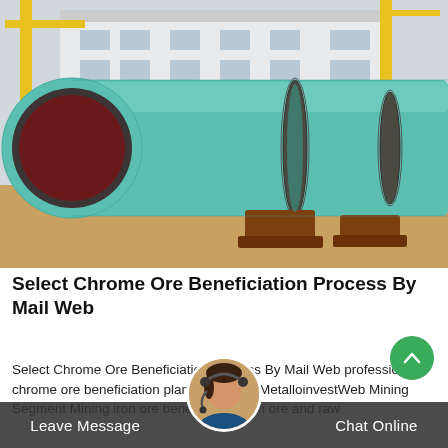[Figure (photo): Large green rotary drum kiln or ball mill industrial equipment photographed in a factory/outdoor yard setting. The cylindrical equipment with dark red circular opening is in the foreground, extending to the right with metal drive gears visible. Yellow crane structures and a light-colored industrial building are in the background.]
Select Chrome Ore Beneficiation Process By Mail Web
Select Chrome Ore Beneficiation Process By Mail Web professional chrome ore beneficiation plants products MetalloinvestWeb Mining Segment Mining iron ore beneficiation iron ore and raw